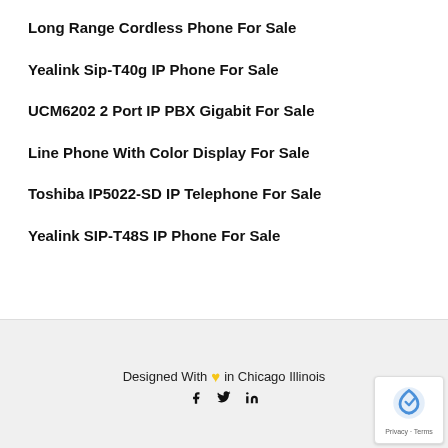Long Range Cordless Phone For Sale
Yealink Sip-T40g IP Phone For Sale
UCM6202 2 Port IP PBX Gigabit For Sale
Line Phone With Color Display For Sale
Toshiba IP5022-SD IP Telephone For Sale
Yealink SIP-T48S IP Phone For Sale
Designed With ♥ in Chicago Illinois  f  𝕏  in  Privacy · Terms